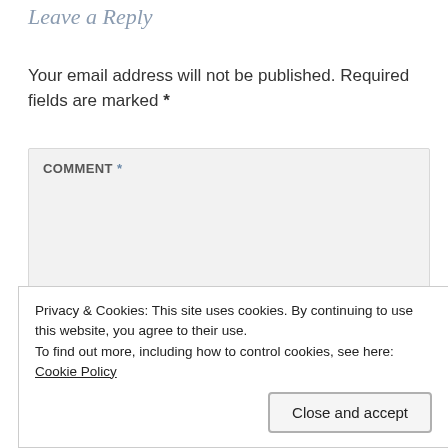Leave a Reply
Your email address will not be published. Required fields are marked *
[Figure (screenshot): Comment text area input box with label COMMENT * on a light gray background]
Privacy & Cookies: This site uses cookies. By continuing to use this website, you agree to their use.
To find out more, including how to control cookies, see here: Cookie Policy
Close and accept